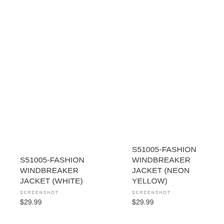[Figure (screenshot): Product image area for S51005-FASHION WINDBREAKER JACKET (WHITE) — white/blank image placeholder]
S51005-FASHION WINDBREAKER JACKET (WHITE)
SCREENSHOT
$29.99
[Figure (screenshot): Product image area for S51005-FASHION WINDBREAKER JACKET (NEON YELLOW) — white/blank image placeholder]
S51005-FASHION WINDBREAKER JACKET (NEON YELLOW)
SCREENSHOT
$29.99